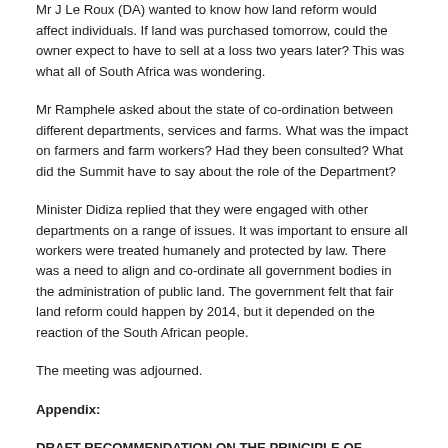that workers were not vulnerable.
Mr J Le Roux (DA) wanted to know how land reform would affect individuals. If land was purchased tomorrow, could the owner expect to have to sell at a loss two years later? This was what all of South Africa was wondering.
Mr Ramphele asked about the state of co-ordination between different departments, services and farms. What was the impact on farmers and farm workers? Had they been consulted? What did the Summit have to say about the role of the Department?
Minister Didiza replied that they were engaged with other departments on a range of issues. It was important to ensure all workers were treated humanely and protected by law. There was a need to align and co-ordinate all government bodies in the administration of public land. The government felt that fair land reform could happen by 2014, but it depended on the reaction of the South African people.
The meeting was adjourned.
Appendix:
DRAFT RECOMMENDATION ON THE PRINCIPLE OF 'WILLING SELLER -WILLING BUYER' AND GOVERNMENT'S APPROACH TO